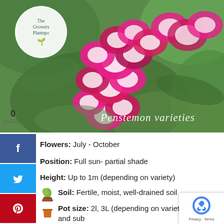[Figure (photo): Close-up photo of bright pink/magenta Penstemon flowers with white throats against green foliage background. The Growers Plantspo logo in a white circle overlaid top-left. Text 'Penstemon varieties' in white italic script overlaid bottom-right.]
0
SHARES
Flowers: July - October
Position: Full sun- partial shade
Height: Up to 1m (depending on variety)
Soil: Fertile, moist, well-drained soil
Pot size: 2l, 3L (depending on variety and sub availability).